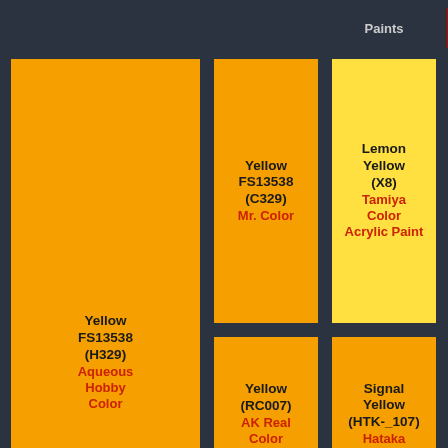Paints
| Color | Mr. Color | Tamiya Color Acrylic Paint | Vallejo Model Air | ... |
| --- | --- | --- | --- | --- |
| Yellow FS13538 (H329) Aqueous Hobby Color | Yellow FS13538 (C329) Mr. Color | Lemon Yellow (X8) Tamiya Color Acrylic Paint | IJA Chrome Yellow (71.135) Vallejo Model Air |  |
|  | Yellow (RC007) AK Real Color | Signal Yellow (HTK-_107) Hataka | FS13655 Blue Angels Yellow (X108) Xtracolor |  |
|  | Lemon Yellow (HTK-_222) Hataka | DIRTY YELLOW (AK11043) AK 3rd Gen Acrylics |  |  |
|  |  | German |  |  |